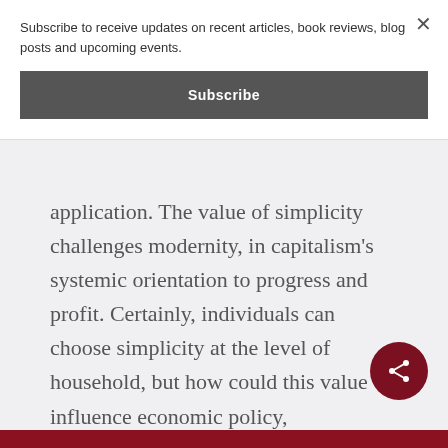Subscribe to receive updates on recent articles, book reviews, blog posts and upcoming events.
Subscribe
application. The value of simplicity challenges modernity, in capitalism's systemic orientation to progress and profit. Certainly, individuals can choose simplicity at the level of household, but how could this value influence economic policy,